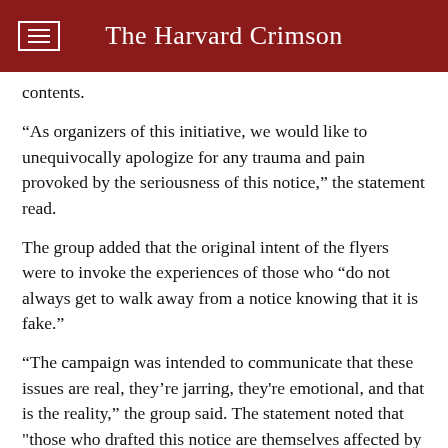The Harvard Crimson
contents.
“As organizers of this initiative, we would like to unequivocally apologize for any trauma and pain provoked by the seriousness of this notice,” the statement read.
The group added that the original intent of the flyers were to invoke the experiences of those who “do not always get to walk away from a notice knowing that it is fake.”
“The campaign was intended to communicate that these issues are real, they’re jarring, they're emotional, and that is the reality,” the group said. The statement noted that "those who drafted this notice are themselves affected by the issues of administrative detention, criminalization, state violence, and deportation."
Shantell Williams ’18, the president of the Black Students